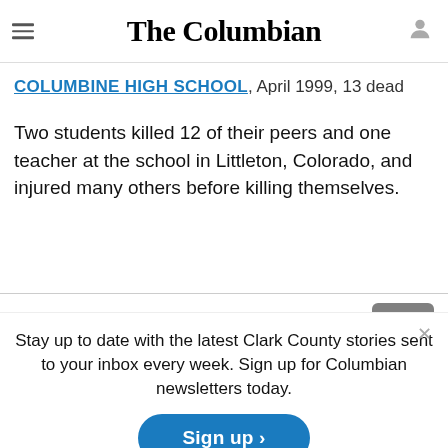The Columbian
companion at their Minnesota home, then went to nearby Red Lake High School, where he killed students, a teacher and an unarmed guard before killing himself
COLUMBINE HIGH SCHOOL, April 1999, 13 dead
Two students killed 12 of their peers and one teacher at the school in Littleton, Colorado, and injured many others before killing themselves.
Stay up to date with the latest Clark County stories sent to your inbox every week. Sign up for Columbian newsletters today.
Sign up >
transphobic comments on social media can spark an act of violence against a transgender person.